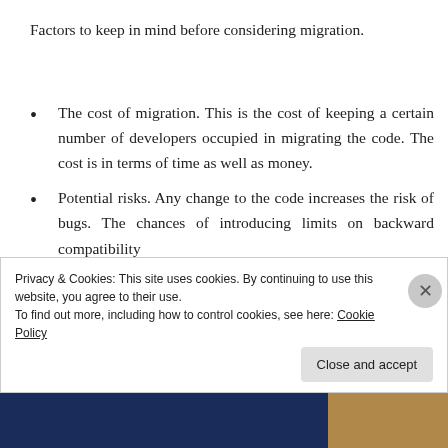Factors to keep in mind before considering migration.
The cost of migration. This is the cost of keeping a certain number of developers occupied in migrating the code. The cost is in terms of time as well as money.
Potential risks. Any change to the code increases the risk of bugs. The chances of introducing limits on backward compatibility
Privacy & Cookies: This site uses cookies. By continuing to use this website, you agree to their use.
To find out more, including how to control cookies, see here: Cookie Policy